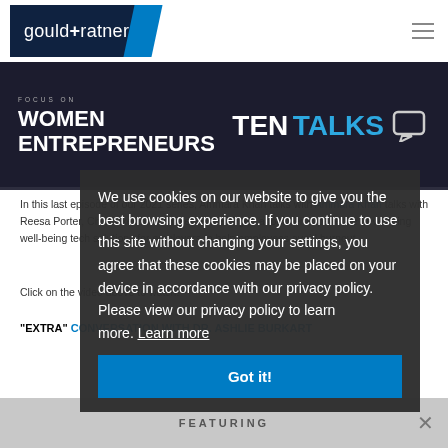[Figure (logo): Gould + Ratner law firm logo — dark navy background with white text 'gould+ratner' and blue parallelogram accent]
[Figure (screenshot): Dark banner with 'FOCUS ON WOMEN ENTREPRENEURS' on the left and 'TEN TALKS' in white and blue on the right with a speech bubble icon]
In this last episode of our 2021 series, Ammara Khan talks with Reesa Porter, Chief Executive Officer at WellRight, about her experience developing well-being tech solutions for employers to help employees avoid burnout.
Click on the video above to watch!
"EXTRA" CONVERSATION WITH DR. ASHLIE BURKART
[Figure (screenshot): Gray banner at bottom with FEATURING text and a close X button]
We use cookies on our website to give you the best browsing experience. If you continue to use this site without changing your settings, you agree that these cookies may be placed on your device in accordance with our privacy policy. Please view our privacy policy to learn more. Learn more
Got it!